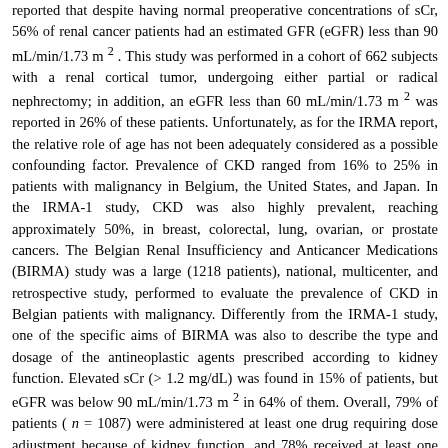reported that despite having normal preoperative concentrations of sCr, 56% of renal cancer patients had an estimated GFR (eGFR) less than 90 mL/min/1.73 m 2 . This study was performed in a cohort of 662 subjects with a renal cortical tumor, undergoing either partial or radical nephrectomy; in addition, an eGFR less than 60 mL/min/1.73 m 2 was reported in 26% of these patients. Unfortunately, as for the IRMA report, the relative role of age has not been adequately considered as a possible confounding factor. Prevalence of CKD ranged from 16% to 25% in patients with malignancy in Belgium, the United States, and Japan. In the IRMA-1 study, CKD was also highly prevalent, reaching approximately 50%, in breast, colorectal, lung, ovarian, or prostate cancers. The Belgian Renal Insufficiency and Anticancer Medications (BIRMA) study was a large (1218 patients), national, multicenter, and retrospective study, performed to evaluate the prevalence of CKD in Belgian patients with malignancy. Differently from the IRMA-1 study, one of the specific aims of BIRMA was also to describe the type and dosage of the antineoplastic agents prescribed according to kidney function. Elevated sCr (> 1.2 mg/dL) was found in 15% of patients, but eGFR was below 90 mL/min/1.73 m 2 in 64% of them. Overall, 79% of patients ( n = 1087) were administered at least one drug requiring dose adjustment because of kidney function, and 78% received at least one drug known to be nephrotoxic. Notably, 56% of CKD patients treated with chemotherapy agents requiring dose adjustment in case of reduced kidney function had no dose reduction. This study proved that prevalence of CKD is high in patients with malignancy